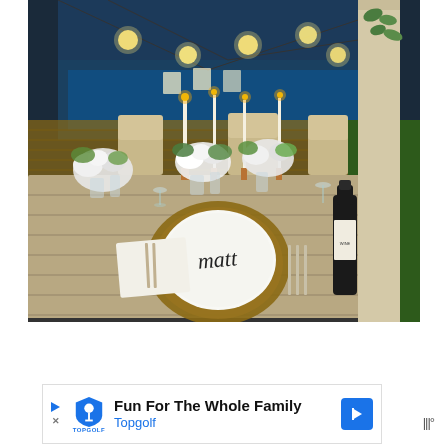[Figure (photo): Outdoor dinner table set for a party at night. A weathered wood table is beautifully decorated with white and green floral arrangements in glass vases, tall white candles on copper candlesticks, wine glasses, and a personal place setting with a white plate inscribed 'matt' in script, sitting on a woven charger plate. A wine bottle is on the right side. String Edison bulb lights hang above the table. A swimming pool and brick patio are visible in the background.]
[Figure (screenshot): Advertisement banner for Topgolf. Shows Topgolf logo (a golf-themed shield icon), text 'Fun For The Whole Family' in bold and 'Topgolf' in blue, a blue navigation arrow icon, and a mute/audio icon on the right.]